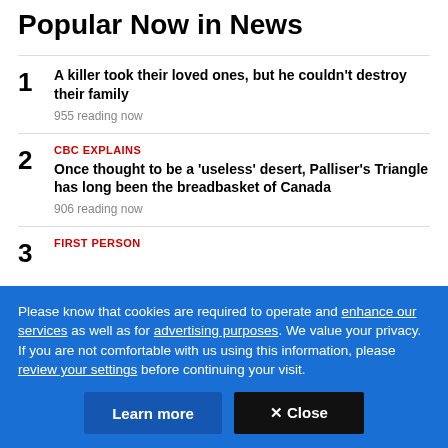Popular Now in News
1. A killer took their loved ones, but he couldn't destroy their family
955 reading now
2. CBC EXPLAINS
Once thought to be a 'useless' desert, Palliser's Triangle has long been the breadbasket of Canada
906 reading now
3. FIRST PERSON
Please know that cookies are required to operate and enhance our services as well as for advertising purposes. We value your privacy. If you are not comfortable with us using this information, please review your settings before continuing your visit.